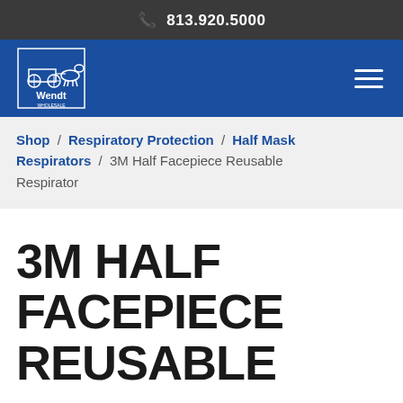📞 813.920.5000
[Figure (logo): Wendt Wholesale logo — white illustration of a horse and cart with 'Wendt' text below, on blue background]
Shop / Respiratory Protection / Half Mask Respirators / 3M Half Facepiece Reusable Respirator
3M HALF FACEPIECE REUSABLE